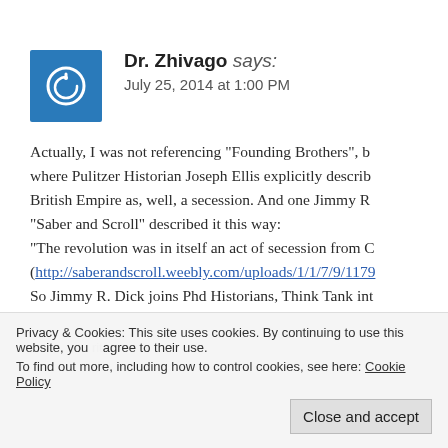Dr. Zhivago says: July 25, 2014 at 1:00 PM
Actually, I was not referencing “Founding Brothers”, b where Pulitzer Historian Joseph Ellis explicitly describ British Empire as, well, a secession. And one Jimmy R “Saber and Scroll” described it this way: “The revolution was in itself an act of secession from C (http://saberandscroll.weebly.com/uploads/1/1/7/9/1179 So Jimmy R. Dick joins Phd Historians, Think Tank int
Privacy & Cookies: This site uses cookies. By continuing to use this website, you agree to their use.
To find out more, including how to control cookies, see here: Cookie Policy
Close and accept